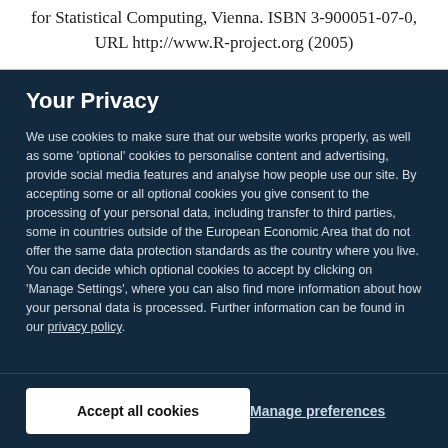for Statistical Computing, Vienna. ISBN 3-900051-07-0, URL http://www.R-project.org (2005)
Your Privacy
We use cookies to make sure that our website works properly, as well as some 'optional' cookies to personalise content and advertising, provide social media features and analyse how people use our site. By accepting some or all optional cookies you give consent to the processing of your personal data, including transfer to third parties, some in countries outside of the European Economic Area that do not offer the same data protection standards as the country where you live. You can decide which optional cookies to accept by clicking on 'Manage Settings', where you can also find more information about how your personal data is processed. Further information can be found in our privacy policy.
Accept all cookies
Manage preferences